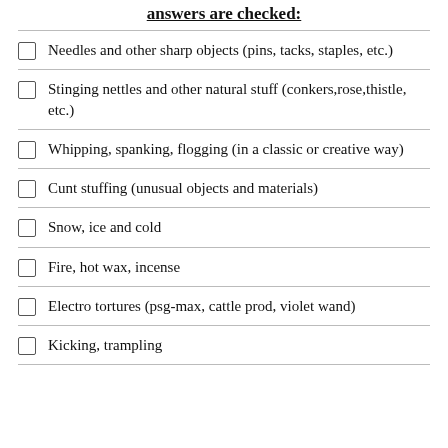answers are checked:
Needles and other sharp objects (pins, tacks, staples, etc.)
Stinging nettles and other natural stuff (conkers,rose,thistle, etc.)
Whipping, spanking, flogging (in a classic or creative way)
Cunt stuffing (unusual objects and materials)
Snow, ice and cold
Fire, hot wax, incense
Electro tortures (psg-max, cattle prod, violet wand)
Kicking, trampling